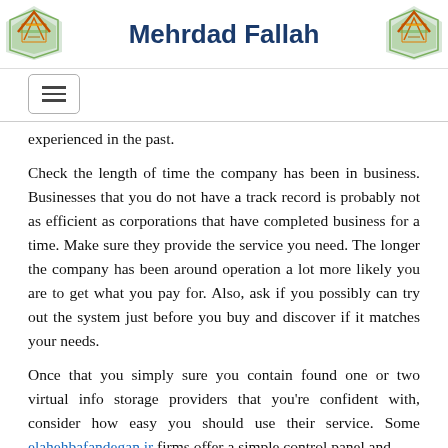Mehrdad Fallah
[Figure (logo): Decorative arrow/chevron logo on left side of header]
[Figure (logo): Decorative arrow/chevron logo on right side of header]
experienced in the past.
Check the length of time the company has been in business. Businesses that you do not have a track record is probably not as efficient as corporations that have completed business for a time. Make sure they provide the service you need. The longer the company has been around operation a lot more likely you are to get what you pay for. Also, ask if you possibly can try out the system just before you buy and discover if it matches your needs.
Once that you simply sure you contain found one or two virtual info storage providers that you're confident with, consider how easy you should use their service. Some elahehbafandegan.ir firms offer a simple control panel and